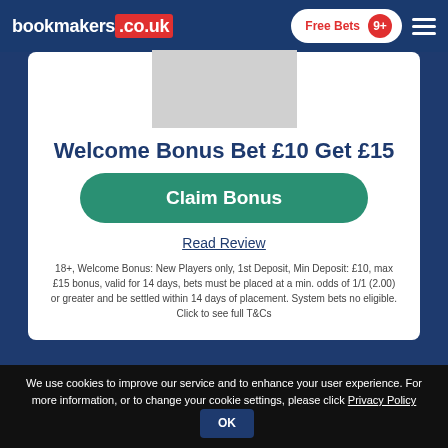bookmakers.co.uk — Free Bets 9+
[Figure (other): Grey placeholder image for a bookmaker logo]
Welcome Bonus Bet £10 Get £15
Claim Bonus
Read Review
18+, Welcome Bonus: New Players only, 1st Deposit, Min Deposit: £10, max £15 bonus, valid for 14 days, bets must be placed at a min. odds of 1/1 (2.00) or greater and be settled within 14 days of placement. System bets no eligible. Click to see full T&Cs
We use cookies to improve our service and to enhance your user experience. For more information, or to change your cookie settings, please click Privacy Policy OK